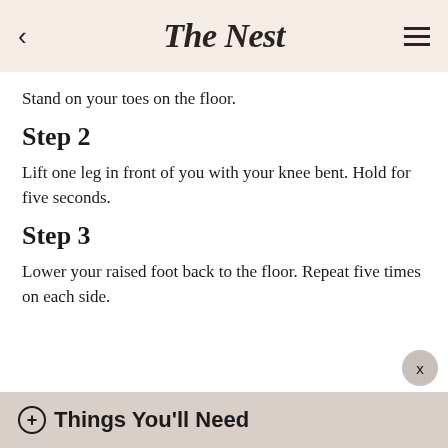The Nest
Stand on your toes on the floor.
Step 2
Lift one leg in front of you with your knee bent. Hold for five seconds.
Step 3
Lower your raised foot back to the floor. Repeat five times on each side.
+ Things You'll Need